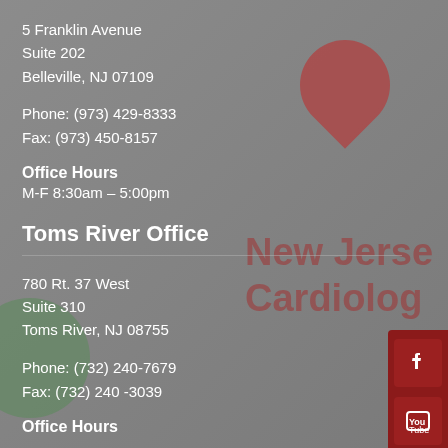5 Franklin Avenue
Suite 202
Belleville, NJ 07109
Phone: (973) 429-8333
Fax: (973) 450-8157
Office Hours
M-F 8:30am – 5:00pm
Toms River Office
780 Rt. 37 West
Suite 310
Toms River, NJ 08755
Phone: (732) 240-7679
Fax: (732) 240 -3039
Office Hours